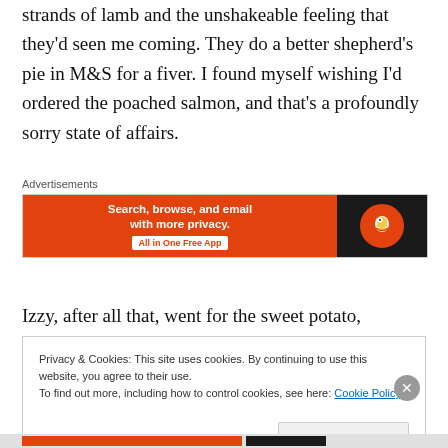strands of lamb and the unshakeable feeling that they'd seen me coming. They do a better shepherd's pie in M&S for a fiver. I found myself wishing I'd ordered the poached salmon, and that's a profoundly sorry state of affairs.
[Figure (screenshot): DuckDuckGo advertisement banner: orange section with text 'Search, browse, and email with more privacy. All in One Free App' and dark section with DuckDuckGo logo]
Izzy, after all that, went for the sweet potato,
Privacy & Cookies: This site uses cookies. By continuing to use this website, you agree to their use.
To find out more, including how to control cookies, see here: Cookie Policy
Close and accept